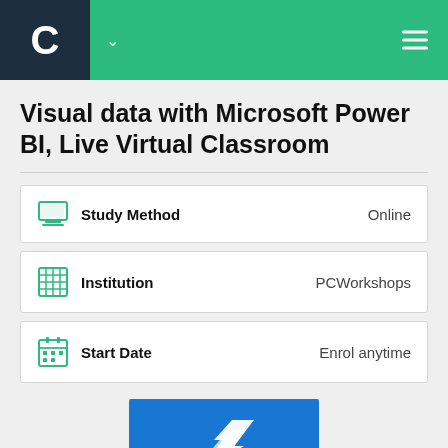C — Visual data with Microsoft Power BI, Live Virtual Classroom
Visual data with Microsoft Power BI, Live Virtual Classroom
| Field | Value |
| --- | --- |
| Study Method | Online |
| Institution | PCWorkshops |
| Start Date | Enrol anytime |
[Figure (logo): Microsoft Power BI logo on blue background — white lightning bolt / arrow chevron shape]